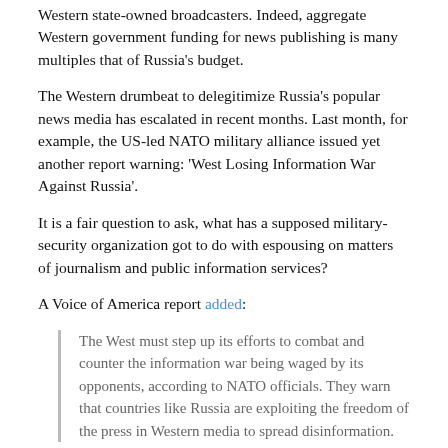Western state-owned broadcasters. Indeed, aggregate Western government funding for news publishing is many multiples that of Russia's budget.
The Western drumbeat to delegitimize Russia's popular news media has escalated in recent months. Last month, for example, the US-led NATO military alliance issued yet another report warning: 'West Losing Information War Against Russia'.
It is a fair question to ask, what has a supposed military-security organization got to do with espousing on matters of journalism and public information services?
A Voice of America report added:
The West must step up its efforts to combat and counter the information war being waged by its opponents, according to NATO officials. They warn that countries like Russia are exploiting the freedom of the press in Western media to spread disinformation.
Note how it is alleged that Russia is somehow underhandedly "exploiting" Western media freedom. The implication here is that counter-sanctions on Russian media would therefore be justified because of alleged transgressions.
Meanwhile, also last month, the Director of US National Intelligence James